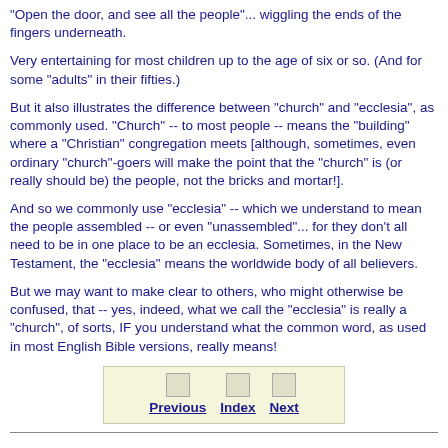"Open the door, and see all the people"... wiggling the ends of the fingers underneath.
Very entertaining for most children up to the age of six or so. (And for some "adults" in their fifties.)
But it also illustrates the difference between "church" and "ecclesia", as commonly used. "Church" -- to most people -- means the "building" where a "Christian" congregation meets [although, sometimes, even ordinary "church"-goers will make the point that the "church" is (or really should be) the people, not the bricks and mortar!].
And so we commonly use "ecclesia" -- which we understand to mean the people assembled -- or even "unassembled"... for they don't all need to be in one place to be an ecclesia. Sometimes, in the New Testament, the "ecclesia" means the worldwide body of all believers.
But we may want to make clear to others, who might otherwise be confused, that -- yes, indeed, what we call the "ecclesia" is really a "church", of sorts, IF you understand what the common word, as used in most English Bible versions, really means!
[Figure (other): Navigation bar with Previous, Index, and Next buttons on a beige background]